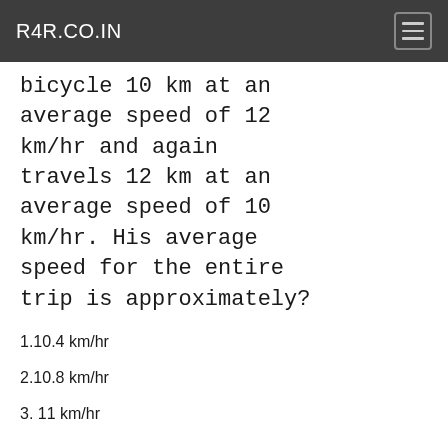R4R.CO.IN
bicycle 10 km at an average speed of 12 km/hr and again travels 12 km at an average speed of 10 km/hr. His average speed for the entire trip is approximately?
1.10.4 km/hr
2.10.8 km/hr
3. 11 km/hr